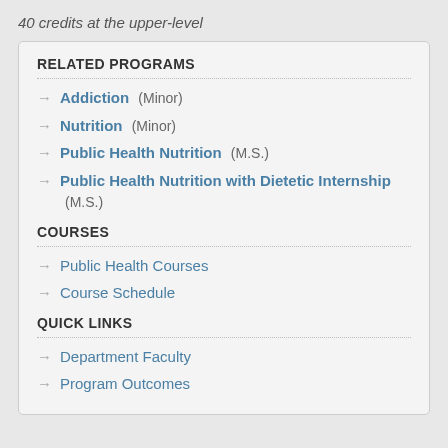40 credits at the upper-level
RELATED PROGRAMS
Addiction (Minor)
Nutrition (Minor)
Public Health Nutrition (M.S.)
Public Health Nutrition with Dietetic Internship (M.S.)
COURSES
Public Health Courses
Course Schedule
QUICK LINKS
Department Faculty
Program Outcomes